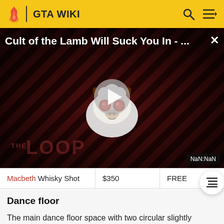GTA WIKI
[Figure (screenshot): Video thumbnail for 'Cult of the Lamb Will Suck You In - ...' with The Loop branding, a cartoon lamb character with red eyes, play button overlay, and NaN:NaN timestamp badge]
| Macbeth Whisky Shot | $350 | FREE |
Dance floor
The main dance floor space with two circular slightly elevated platforms for the paid dancers (if hired). A